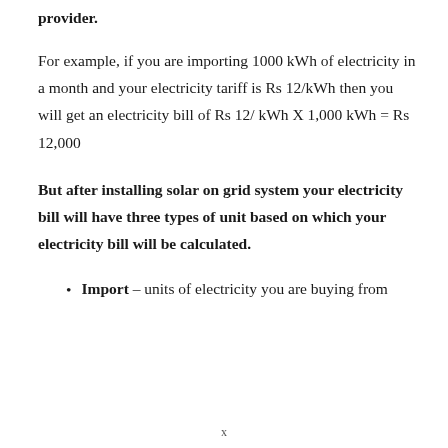provider.
For example, if you are importing 1000 kWh of electricity in a month and your electricity tariff is Rs 12/kWh then you will get an electricity bill of Rs 12/ kWh X 1,000 kWh = Rs 12,000
But after installing solar on grid system your electricity bill will have three types of unit based on which your electricity bill will be calculated.
Import – units of electricity you are buying from
x